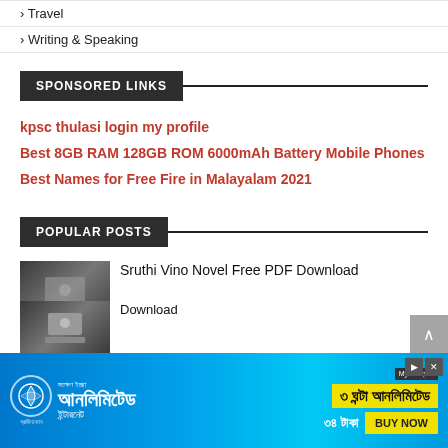› Travel
› Writing & Speaking
SPONSORED LINKS
kpsc thulasi login my profile
Best 8GB RAM 128GB ROM 6000mAh Battery Mobile Phones
Best Names for Free Fire in Malayalam 2021
POPULAR POSTS
Sruthi Vino Novel Free PDF Download
[Figure (screenshot): Advertisement banner for a mobile data plan featuring Bengali text, showing unlimited internet offer for 3 hours at 38 Taka with a BUY NOW button]
Download